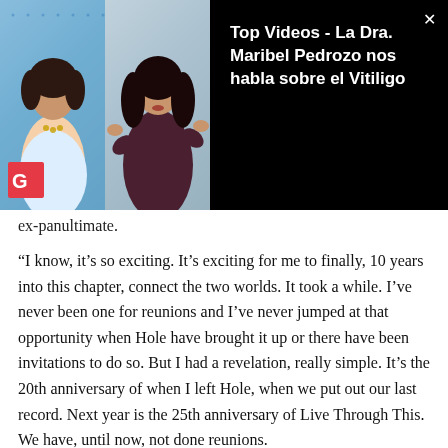[Figure (screenshot): Video overlay showing two women in a video call thumbnail on the left, and a black panel on the right with white bold text 'Top Videos - La Dra. Maribel Pedrozo nos habla sobre el Vitiligo' and a close X button. A VP badge appears on the thumbnail.]
ex-panultimate.
“I know, it’s so exciting. It’s exciting for me to finally, 10 years into this chapter, connect the two worlds. It took a while. I’ve never been one for reunions and I’ve never jumped at that opportunity when Hole have brought it up or there have been invitations to do so. But I had a revelation, really simple. It’s the 20th anniversary of when I left Hole, when we put out our last record. Next year is the 25th anniversary of Live Through This. We have, until now, not done reunions.
Honestly, the event that we’re honoring Courtney W… Pioneering People, we did it once with John Waters, once